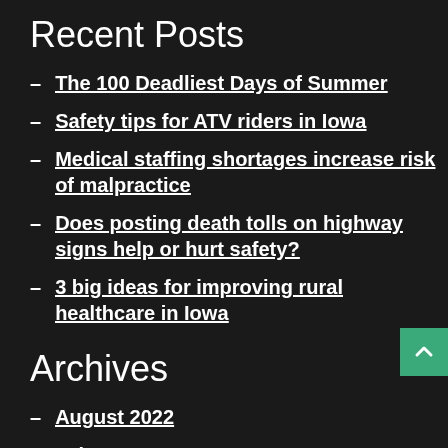Recent Posts
The 100 Deadliest Days of Summer
Safety tips for ATV riders in Iowa
Medical staffing shortages increase risk of malpractice
Does posting death tolls on highway signs help or hurt safety?
3 big ideas for improving rural healthcare in Iowa
Archives
August 2022
July 2022
June 2022
May 2022